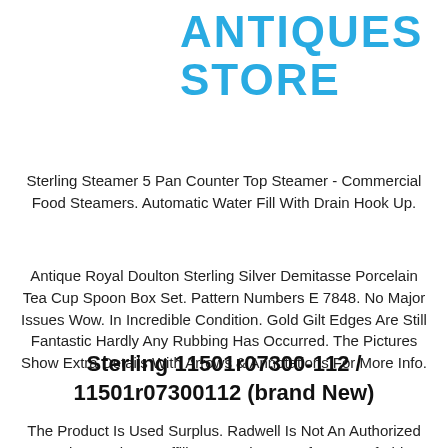ANTIQUES STORE
Sterling Steamer 5 Pan Counter Top Steamer - Commercial Food Steamers. Automatic Water Fill With Drain Hook Up.
Antique Royal Doulton Sterling Silver Demitasse Porcelain Tea Cup Spoon Box Set. Pattern Numbers E 7848. No Major Issues Wow. In Incredible Condition. Gold Gilt Edges Are Still Fantastic Hardly Any Rubbing Has Occurred. The Pictures Show Extra Details With Arrows & Annotations For More Info.
Sterling 11501r07300-112 / 11501r07300112 (brand New)
The Product Is Used Surplus. Radwell Is Not An Authorized Surplus Dealer Or Affiliate For The Manufacturer Of This